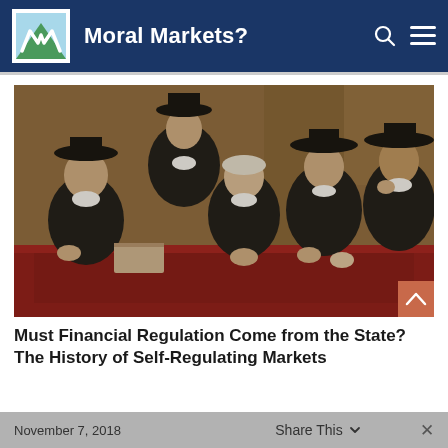Moral Markets?
[Figure (photo): Classic Dutch Golden Age painting showing five men in black robes and wide-brimmed hats seated around a table with a red tablecloth, reminiscent of Rembrandt's Syndics of the Drapers' Guild.]
Must Financial Regulation Come from the State? The History of Self-Regulating Markets
November 7, 2018   Share This   ✕